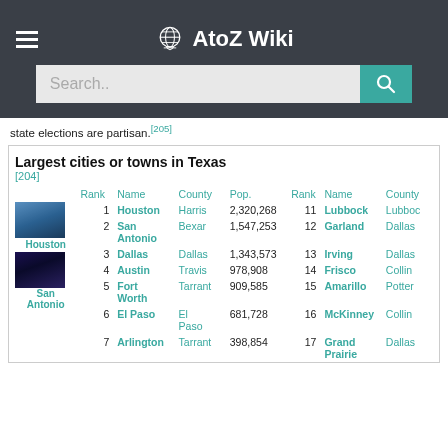AtoZ Wiki
state elections are partisan.[205]
| Rank | Name | County | Pop. | Rank | Name | County |
| --- | --- | --- | --- | --- | --- | --- |
| 1 | Houston | Harris | 2,320,268 | 11 | Lubbock | Lubbock |
| 2 | San Antonio | Bexar | 1,547,253 | 12 | Garland | Dallas |
| 3 | Dallas | Dallas | 1,343,573 | 13 | Irving | Dallas |
| 4 | Austin | Travis | 978,908 | 14 | Frisco | Collin |
| 5 | Fort Worth | Tarrant | 909,585 | 15 | Amarillo | Potter |
| 6 | El Paso | El Paso | 681,728 | 16 | McKinney | Collin |
| 7 | Arlington | Tarrant | 398,854 | 17 | Grand Prairie | Dallas |